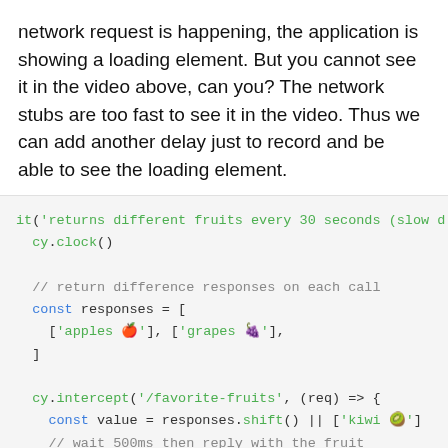network request is happening, the application is showing a loading element. But you cannot see it in the video above, can you? The network stubs are too fast to see it in the video. Thus we can add another delay just to record and be able to see the loading element.
[Figure (screenshot): Code block showing a Cypress test snippet with it(), cy.clock(), cy.intercept(), const responses array with fruits, and Cypress.Promise.delay(500, value).then(re...]